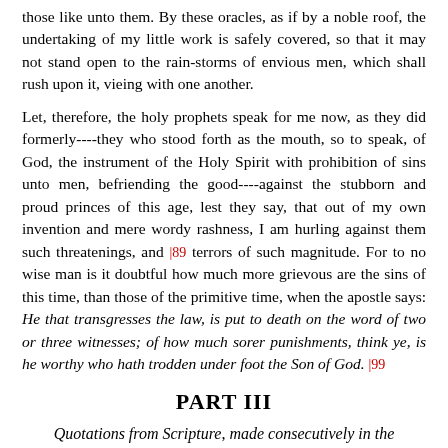those like unto them. By these oracles, as if by a noble roof, the undertaking of my little work is safely covered, so that it may not stand open to the rain-storms of envious men, which shall rush upon it, vieing with one another.
Let, therefore, the holy prophets speak for me now, as they did formerly----they who stood forth as the mouth, so to speak, of God, the instrument of the Holy Spirit with prohibition of sins unto men, befriending the good----against the stubborn and proud princes of this age, lest they say, that out of my own invention and mere wordy rashness, I am hurling against them such threatenings, and |89 terrors of such magnitude. For to no wise man is it doubtful how much more grievous are the sins of this time, than those of the primitive time, when the apostle says: He that transgresses the law, is put to death on the word of two or three witnesses; of how much sorer punishments, think ye, is he worthy who hath trodden under foot the Son of God. |99
PART III
Quotations from Scripture, made consecutively in the order of books, denouncing wicked Princes.
38. The first to meet us is Samuel, who by the command of God founded a legitimate kingdom, a man dedicated to God before his